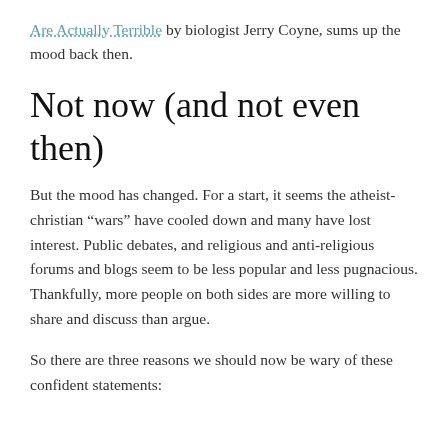Are Actually Terrible by biologist Jerry Coyne, sums up the mood back then.
Not now (and not even then)
But the mood has changed. For a start, it seems the atheist-christian “wars” have cooled down and many have lost interest. Public debates, and religious and anti-religious forums and blogs seem to be less popular and less pugnacious. Thankfully, more people on both sides are more willing to share and discuss than argue.
So there are three reasons we should now be wary of these confident statements: